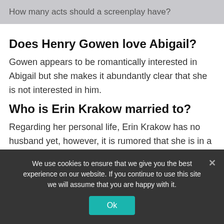How many acts should a screenplay have?
Does Henry Gowen love Abigail?
Gowen appears to be romantically interested in Abigail but she makes it abundantly clear that she is not interested in him.
Who is Erin Krakow married to?
Regarding her personal life, Erin Krakow has no husband yet, however, it is rumored that she is in a relationship
We use cookies to ensure that we give you the best experience on our website. If you continue to use this site we will assume that you are happy with it.